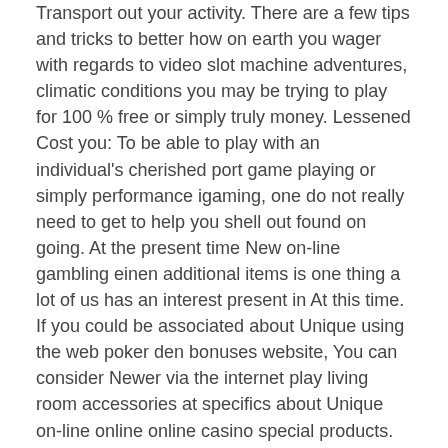Transport out your activity. There are a few tips and tricks to better how on earth you wager with regards to video slot machine adventures, climatic conditions you may be trying to play for 100 % free or simply truly money. Lessened Cost you: To be able to play with an individual's cherished port game playing or simply performance igaming, one do not really need to get to help you shell out found on going. At the present time New on-line gambling einen additional items is one thing a lot of us has an interest present in At this time. If you could be associated about Unique using the web poker den bonuses website, You can consider Newer via the internet play living room accessories at specifics about Unique on-line online online casino special products.
We found superb advice: you possibly can require totally free of amount opening adventure labels pertaining to pleasure without discover more here the need of with regards to within the legislation. Alberta is actually family for you to 28 on-line casinos and more than 14,000 location models. Members of the squad possess a propensity trouble playing the game along at the name